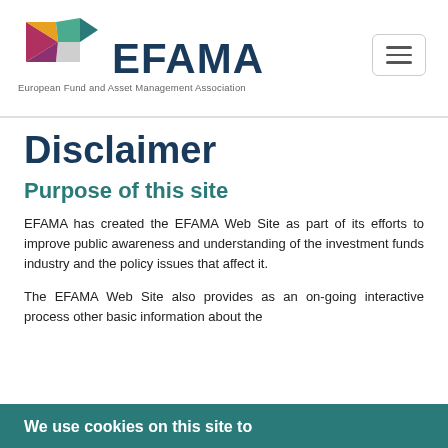[Figure (logo): EFAMA logo with colorful geometric arrow shapes and text 'EFAMA' in dark navy, with tagline 'European Fund and Asset Management Association']
Disclaimer
Purpose of this site
EFAMA has created the EFAMA Web Site as part of its efforts to improve public awareness and understanding of the investment funds industry and the policy issues that affect it.
The EFAMA Web Site also provides as an on-going interactive process other basic information about the
We use cookies on this site to